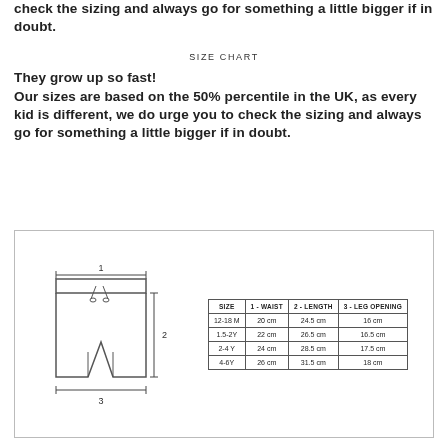check the sizing and always go for something a little bigger if in doubt.
SIZE CHART
They grow up so fast!
Our sizes are based on the 50% percentile in the UK, as every kid is different, we do urge you to check the sizing and always go for something a little bigger if in doubt.
[Figure (schematic): Diagram of children's shorts with three measurements labeled: 1 (waist width), 2 (length), 3 (leg opening/bottom width)]
| SIZE | 1 - WAIST | 2 - LENGTH | 3 - LEG OPENING |
| --- | --- | --- | --- |
| 12-18 M | 20 cm | 24.5 cm | 16 cm |
| 1.5-2Y | 22 cm | 26.5 cm | 16.5 cm |
| 2-4 Y | 24 cm | 28.5 cm | 17.5 cm |
| 4-6Y | 26 cm | 31.5 cm | 18 cm |